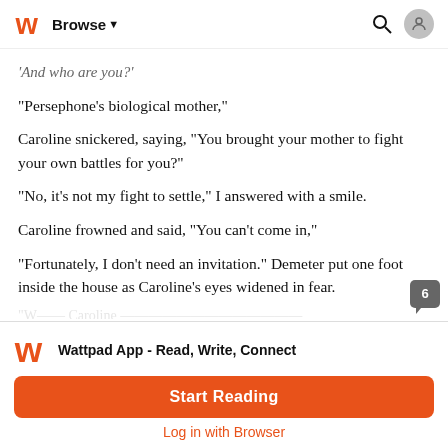Browse
'And who are you?'
"Persephone's biological mother,"
Caroline snickered, saying, "You brought your mother to fight your own battles for you?"
"No, it's not my fight to settle," I answered with a smile.
Caroline frowned and said, "You can't come in,"
"Fortunately, I don't need an invitation." Demeter put one foot inside the house as Caroline's eyes widened in fear.
Wattpad App - Read, Write, Connect
Start Reading
Log in with Browser